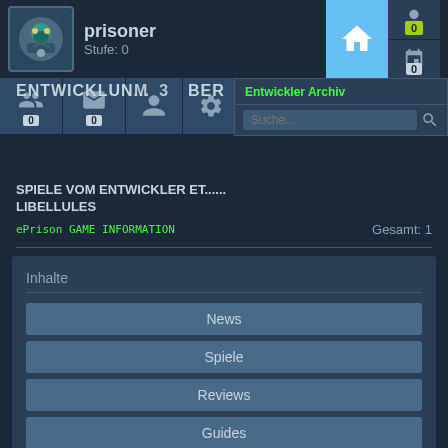[Figure (screenshot): Steam-like gaming platform UI screenshot showing user 'prisoner' at Stufe 0, navigation bar with icons, a dropdown showing 'Entwickler Archiv' with search, developer games section for LIBELLULES, and a content panel with menu items: News, Spiele, Reviews, Guides, Videos]
prisoner
Stufe: 0
Entwickler Archiv
Suche...
SPIELE VOM ENTWICKLER ET... LIBELLULES
ePrison GAME INFORMATION
Gesamt: 1
Inhalte
News
Spiele
Reviews
Guides
Videos